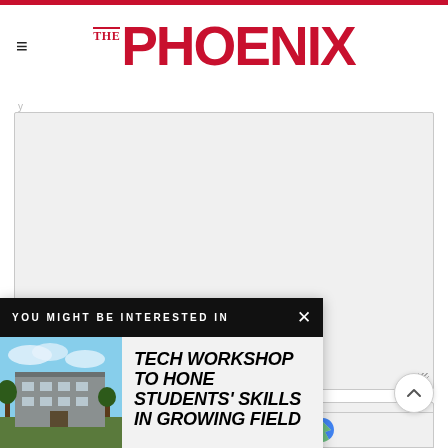THE PHOENIX
[Figure (screenshot): A large textarea input field with grey background and resize handle in bottom right corner]
[Figure (screenshot): A text input field with grey background and placeholder text 'Name']
[Figure (infographic): Popup overlay: 'YOU MIGHT BE INTERESTED IN' with article thumbnail and title 'TECH WORKSHOP TO HONE STUDENTS' SKILLS IN GROWING FIELD']
[Figure (screenshot): Scroll-to-top circular button with upward chevron]